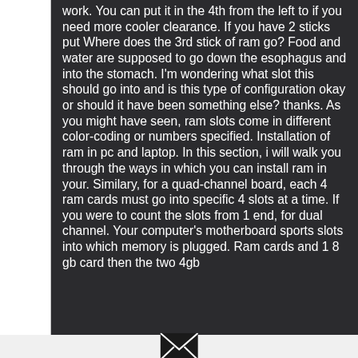work. You can put it in the 4th from the left to if you need more cooler clearance. If you have 2 sticks put Where does the 3rd stick of ram go? Food and water are supposed to go down the esophagus and into the stomach. I'm wondering what slot this should go into and is this type of configuration okay or should it have been something else? thanks. As you might have seen, ram slots come in different color-coding or numbers specified. Installation of ram in pc and laptop. In this section, i will walk you through the ways in which you can install ram in your. Similary, for a quad-channel board, each 4 ram cards must go into specific 4 slots at a time. If you were to count the slots from 1 end, for dual channel. Your computer's motherboard sports slots into which memory is plugged. Ram cards and 1 8 gb card then the two 4gb
[Figure (other): Email/message envelope icon, white on dark background, centered in bottom bar]